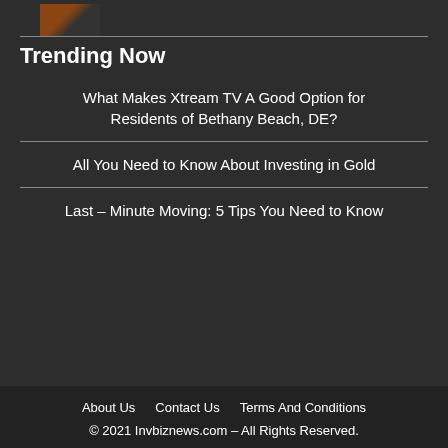[Figure (photo): Small thumbnail image of a person, partially visible at top left]
Trending Now
What Makes Xtream TV A Good Option for Residents of Bethany Beach, DE?
All You Need to Know About Investing in Gold
Last – Minute Moving: 5 Tips You Need to Know
About Us   Contact Us   Terms And Conditions
© 2021 Invbiznews.com – All Rights Reserved.